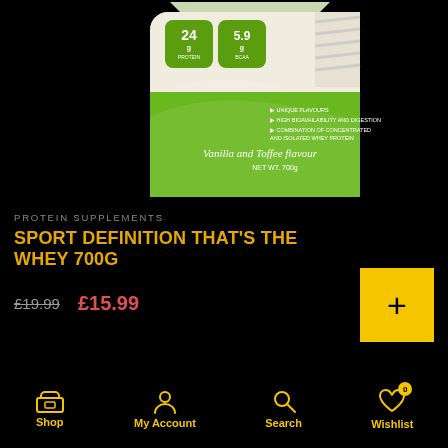[Figure (photo): Green and white protein supplement bag (Sport Definition That's The Whey Vanilla and Toffee flavour 700g) photographed against black background, showing front of bag with nutritional highlights: 24g protein, 5.9g BCAA, and product claims.]
PROTEIN SUPPLEMENTS
SPORT DEFINITION THAT'S THE WHEY 700G
£19.99  £15.99
[Figure (photo): Black luggage bag/suitcase with handle, showing '3 kg' label, photographed against black background.]
Shop  My Account  Search  Wishlist